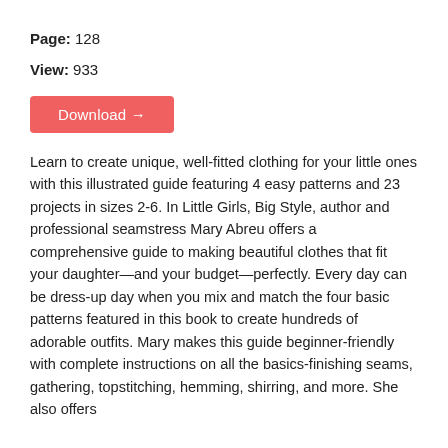Page: 128
View: 933
Download →
Learn to create unique, well-fitted clothing for your little ones with this illustrated guide featuring 4 easy patterns and 23 projects in sizes 2-6. In Little Girls, Big Style, author and professional seamstress Mary Abreu offers a comprehensive guide to making beautiful clothes that fit your daughter—and your budget—perfectly. Every day can be dress-up day when you mix and match the four basic patterns featured in this book to create hundreds of adorable outfits. Mary makes this guide beginner-friendly with complete instructions on all the basics-finishing seams, gathering, topstitching, hemming, shirring, and more. She also offers